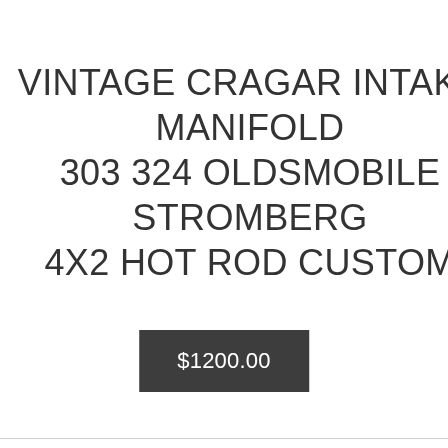VINTAGE CRAGAR INTAKE MANIFOLD 303 324 OLDSMOBILE STROMBERG 4X2 HOT ROD CUSTOM
$1200.00